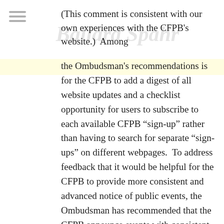(This comment is consistent with our own experiences with the CFPB's website.)  Among the Ombudsman's recommendations is for the CFPB to add a digest of all website updates and a checklist opportunity for users to subscribe to each available CFPB “sign-up” rather than having to search for separate “sign-ups” on different webpages.  To address feedback that it would be helpful for the CFPB to provide more consistent and advanced notice of public events, the Ombudsman has recommended that the CFPB announce events with consistent minimal lead time even if only the city and state are known, provide an events calendar on its website, and add a “sign up” to receive calendar updates.